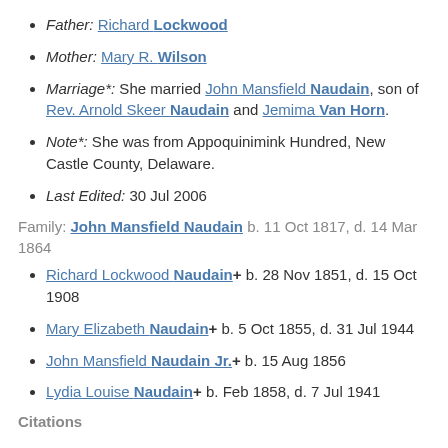Father: Richard Lockwood
Mother: Mary R. Wilson
Marriage*: She married John Mansfield Naudain, son of Rev. Arnold Skeer Naudain and Jemima Van Horn.
Note*: She was from Appoquinimink Hundred, New Castle County, Delaware.
Last Edited: 30 Jul 2006
Family: John Mansfield Naudain b. 11 Oct 1817, d. 14 Mar 1864
Richard Lockwood Naudain+ b. 28 Nov 1851, d. 15 Oct 1908
Mary Elizabeth Naudain+ b. 5 Oct 1855, d. 31 Jul 1944
John Mansfield Naudain Jr.+ b. 15 Aug 1856
Lydia Louise Naudain+ b. Feb 1858, d. 7 Jul 1941
Citations